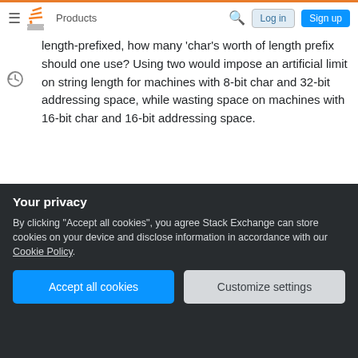Stack Exchange – Products | Log in | Sign up
length-prefixed, how many 'char's worth of length prefix should one use? Using two would impose an artificial limit on string length for machines with 8-bit char and 32-bit addressing space, while wasting space on machines with 16-bit char and 16-bit addressing space.
If one wanted to allow arbitrary-length strings to be stored efficiently, and if 'char' were always 8-bits, one could--for some expense in speed and code size--define a scheme were a string prefixed by an
that space to handle the maximum length. The fact
Your privacy
By clicking "Accept all cookies", you agree Stack Exchange can store cookies on your device and disclose information in accordance with our Cookie Policy.